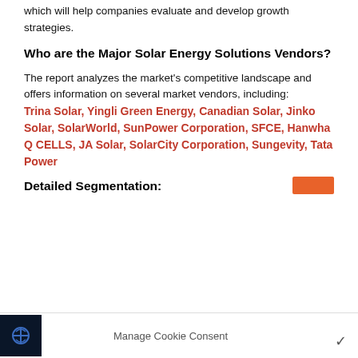which will help companies evaluate and develop growth strategies.
Who are the Major Solar Energy Solutions Vendors?
The report analyzes the market's competitive landscape and offers information on several market vendors, including:
Trina Solar, Yingli Green Energy, Canadian Solar, Jinko Solar, SolarWorld, SunPower Corporation, SFCE, Hanwha Q CELLS, JA Solar, SolarCity Corporation, Sungevity, Tata Power
Detailed Segmentation:
Manage Cookie Consent